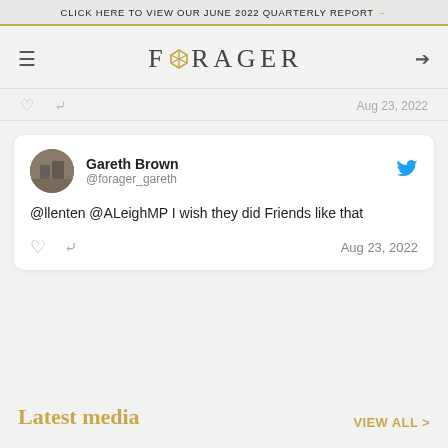CLICK HERE TO VIEW OUR JUNE 2022 QUARTERLY REPORT →
[Figure (logo): Forager logo with geometric gem icon and text FORAGER]
Gareth Brown @forager_gareth
@llenten @ALeighMP I wish they did Friends like that
Aug 23, 2022
Latest media
VIEW ALL >